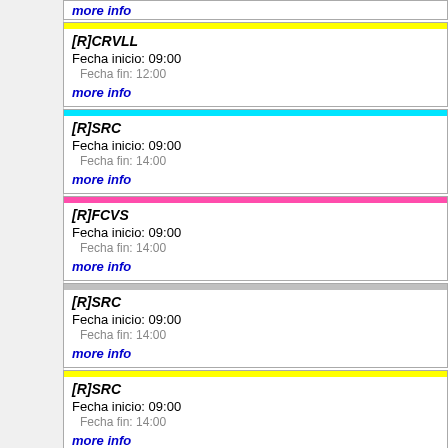more info
[R]CRVLL
Fecha inicio: 09:00
Fecha fin: 12:00
more info
[R]SRC
Fecha inicio: 09:00
Fecha fin: 14:00
more info
[R]FCVS
Fecha inicio: 09:00
Fecha fin: 14:00
more info
[R]SRC
Fecha inicio: 09:00
Fecha fin: 14:00
more info
[R]SRC
Fecha inicio: 09:00
Fecha fin: 14:00
more info
[R]SRC
Fecha inicio: 09:00
Fecha fin: 14:00